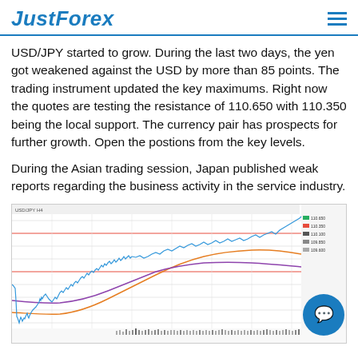JustForex
USD/JPY started to grow. During the last two days, the yen got weakened against the USD by more than 85 points. The trading instrument updated the key maximums. Right now the quotes are testing the resistance of 110.650 with 110.350 being the local support. The currency pair has prospects for further growth. Open the postions from the key levels.
During the Asian trading session, Japan published weak reports regarding the business activity in the service industry.
[Figure (continuous-plot): USD/JPY price chart showing candlestick/line data with moving averages (orange and purple curves) and horizontal resistance/support lines (red lines). Chart shows price action trending upward in the later portion. Volume bars displayed at the bottom.]